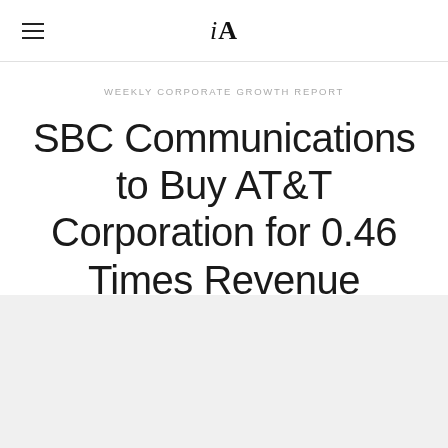iA
WEEKLY CORPORATE GROWTH REPORT
SBC Communications to Buy AT&T Corporation for 0.46 Times Revenue